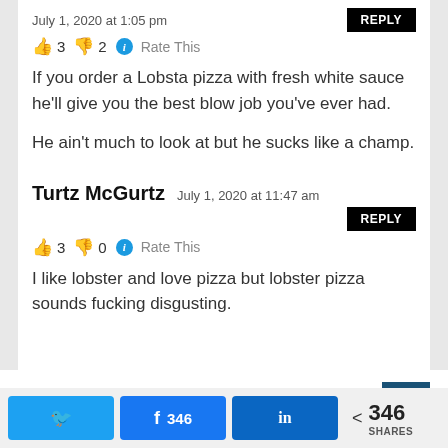July 1, 2020 at 1:05 pm
👍 3 👎 2 ℹ Rate This
If you order a Lobsta pizza with fresh white sauce he'll give you the best blow job you've ever had.

He ain't much to look at but he sucks like a champ.
Turtz McGurtz  July 1, 2020 at 11:47 am
👍 3 👎 0 ℹ Rate This
I like lobster and love pizza but lobster pizza sounds fucking disgusting.